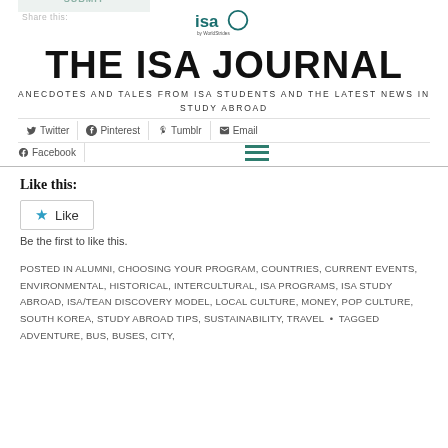[Figure (logo): ISA by WorldStrides logo — circular mark with 'isa' text and 'by WorldStrides' subtitle]
THE ISA JOURNAL
ANECDOTES AND TALES FROM ISA STUDENTS AND THE LATEST NEWS IN STUDY ABROAD
Twitter  Pinterest  Tumblr  Email  Facebook
Like this:
Like
Be the first to like this.
POSTED IN ALUMNI, CHOOSING YOUR PROGRAM, COUNTRIES, CURRENT EVENTS, ENVIRONMENTAL, HISTORICAL, INTERCULTURAL, ISA PROGRAMS, ISA STUDY ABROAD, ISA/TEAN DISCOVERY MODEL, LOCAL CULTURE, MONEY, POP CULTURE, SOUTH KOREA, STUDY ABROAD TIPS, SUSTAINABILITY, TRAVEL  •  TAGGED ADVENTURE, BUS, BUSES, CITY,